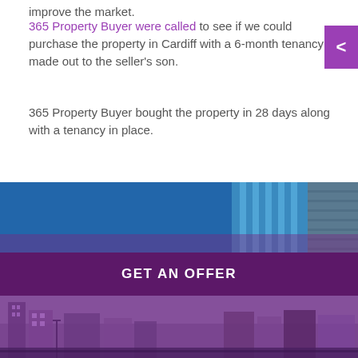improve the market.
365 Property Buyer were called to see if we could purchase the property in Cardiff with a 6-month tenancy made out to the seller’s son.
365 Property Buyer bought the property in 28 days along with a tenancy in place.
[Figure (photo): Blue-toned photo collage of modern glass buildings]
GET AN OFFER
[Figure (photo): Purple-tinted photo of a city skyline with residential buildings]